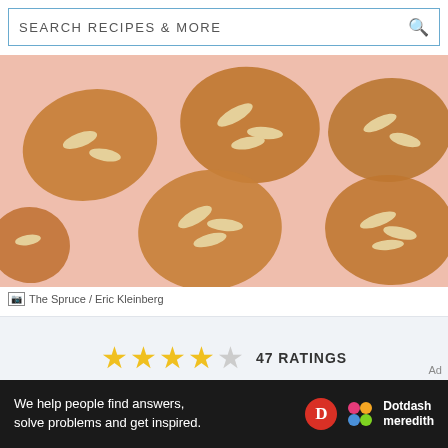SEARCH RECIPES & MORE
[Figure (photo): Overhead view of almond cookies with sliced almonds on top, arranged on a pink background.]
The Spruce / Eric Kleinberg
★★★★☆ 47 RATINGS
Prep: 15 mins
Cook: 20 mins
Total: 35 mins
We help people find answers, solve problems and get inspired. Dotdash meredith